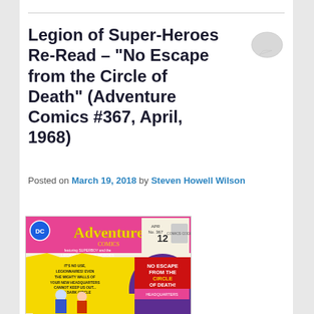Legion of Super-Heroes Re-Read – “No Escape from the Circle of Death” (Adventure Comics #367, April, 1968)
Posted on March 19, 2018 by Steven Howell Wilson
[Figure (illustration): Cover of Adventure Comics #367, April 1968, featuring Superboy and the Legion of Super-Heroes. Pink and yellow cover with title 'No Escape from the Circle of Death!' and text: 'It's no use, Legionnaires! Even the mighty walls of your new headquarters cannot keep us out... The Dark Circle is closing in on you!']